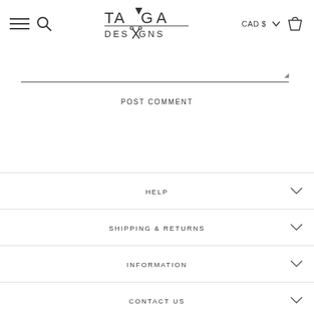TAMGA DESIGNS — navigation header with hamburger, search, logo, CAD $, cart
POST COMMENT
HELP
SHIPPING & RETURNS
INFORMATION
CONTACT US